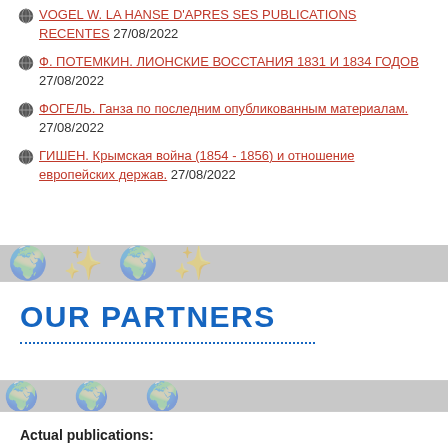VOGEL W. LA HANSE D'APRES SES PUBLICATIONS RECENTES 27/08/2022
Ф. ПОТЕМКИН. ЛИОНСКИЕ ВОССТАНИЯ 1831 И 1834 ГОДОВ 27/08/2022
ФОГЕЛЬ. Ганза по последним опубликованным материалам. 27/08/2022
ГИШЕН. Крымская война (1854 - 1856) и отношение европейских держав. 27/08/2022
OUR PARTNERS
Actual publications: